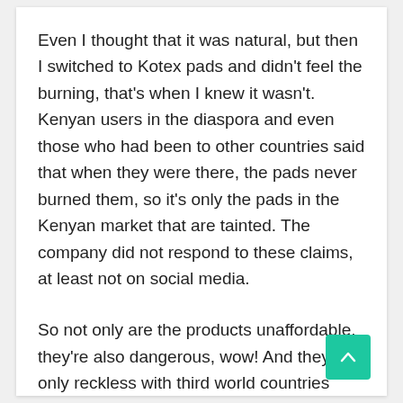Even I thought that it was natural, but then I switched to Kotex pads and didn't feel the burning, that's when I knew it wasn't. Kenyan users in the diaspora and even those who had been to other countries said that when they were there, the pads never burned them, so it's only the pads in the Kenyan market that are tainted. The company did not respond to these claims, at least not on social media.
So not only are the products unaffordable, they're also dangerous, wow! And they're only reckless with third world countries because in developing countries, they don't make such mistakes, wow!